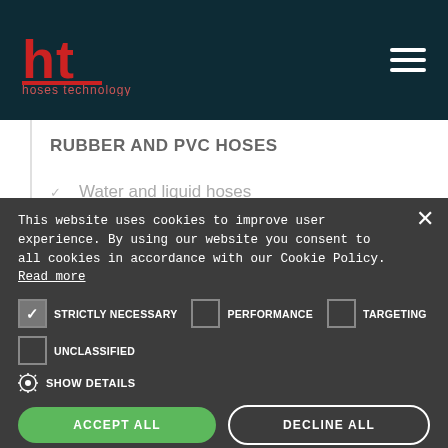[Figure (logo): Hoses Technology logo with red HT letters and gray 'hoses technology' text on dark teal background]
RUBBER AND PVC HOSES
Water and liquid hoses
Air hoses
Hot water and steam hoses
This website uses cookies to improve user experience. By using our website you consent to all cookies in accordance with our Cookie Policy. Read more
STRICTLY NECESSARY | PERFORMANCE | TARGETING | UNCLASSIFIED | SHOW DETAILS
ACCEPT ALL | DECLINE ALL